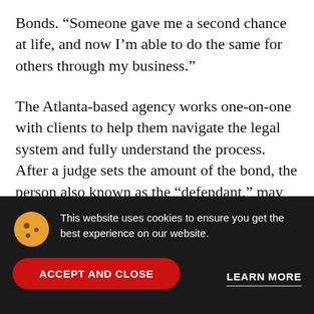Bonds. “Someone gave me a second chance at life, and now I’m able to do the same for others through my business.”
The Atlanta-based agency works one-on-one with clients to help them navigate the legal system and fully understand the process. After a judge sets the amount of the bond, the person also known as the “defendant,” may post bail and be released until they are scheduled to appear in court. A 2nd Chance Bail Bonds can guarantee to the court that they will pay the
This website uses cookies to ensure you get the best experience on our website.
ACCEPT AND CLOSE
LEARN MORE